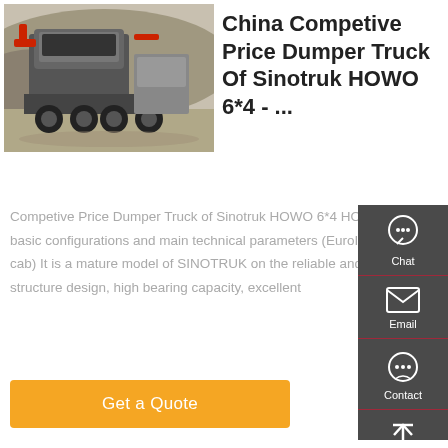[Figure (photo): Photo of a Sinotruk HOWO 6x4 dumper truck parked outdoors, grey cab, rear view visible, mountains in background]
China Competive Price Dumper Truck Of Sinotruk HOWO 6*4 - ...
Competive Price Dumper Truck of Sinotruk HOWO 6*4 HOWO Tipper basic configurations and main technical parameters (EuroII, standard cab) It is a mature model of SINOTRUK on the reliable and stable structure design, high bearing capacity, excellent
[Figure (infographic): Side panel with Chat, Email, Contact, Top navigation icons on dark grey background]
Get a Quote